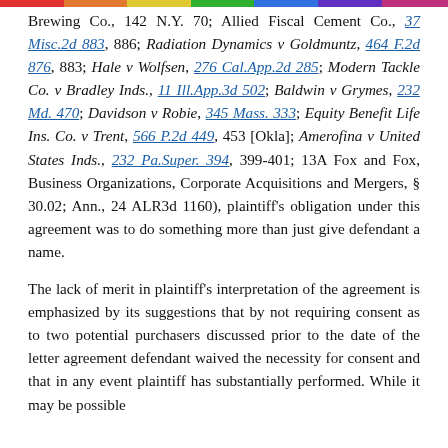Brewing Co., 142 N.Y. 70; Allied Fiscal Cement Co., 37 Misc.2d 883, 886; Radiation Dynamics v Goldmuntz, 464 F.2d 876, 883; Hale v Wolfsen, 276 Cal.App.2d 285; Modern Tackle Co. v Bradley Inds., 11 Ill.App.3d 502; Baldwin v Grymes, 232 Md. 470; Davidson v Robie, 345 Mass. 333; Equity Benefit Life Ins. Co. v Trent, 566 P.2d 449, 453 [Okla]; Amerofina v United States Inds., 232 Pa.Super. 394, 399-401; 13A Fox and Fox, Business Organizations, Corporate Acquisitions and Mergers, § 30.02; Ann., 24 ALR3d 1160), plaintiff's obligation under this agreement was to do something more than just give defendant a name.
The lack of merit in plaintiff's interpretation of the agreement is emphasized by its suggestions that by not requiring consent as to two potential purchasers discussed prior to the date of the letter agreement defendant waived the necessity for consent and that in any event plaintiff has substantially performed. While it may be possible